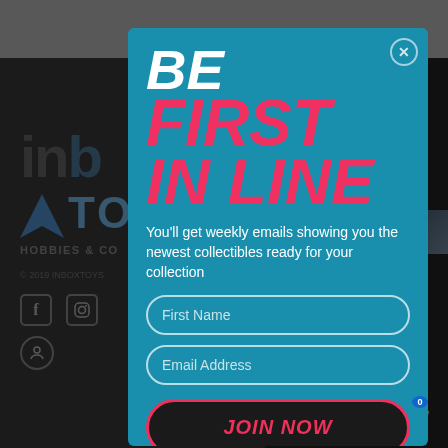[Figure (screenshot): Background of a dark-themed toy/hobbies website (inboxtoys) with gray top bar, dark body showing partial logo text 'inb', arrow icon, 'TO', 'HOBBIES & CO', copyright '© 2019 INBOXTOYS', social media icons, and a cart icon on the right side.]
[Figure (screenshot): Modal popup overlay with teal/blue background. Contains bold italic text 'BE' in white, 'FIRST IN LINE' in pink/red, body text about weekly emails for collectibles, two input fields (First Name, Email Address), and a JOIN NOW button with pink border.]
BE
FIRST
IN LINE
You'll get weekly emails showing you the newest collectibles ready for your collection
First Name
Email Address
JOIN NOW
© 2019 INBOXTOYS
HOBBIES & CO